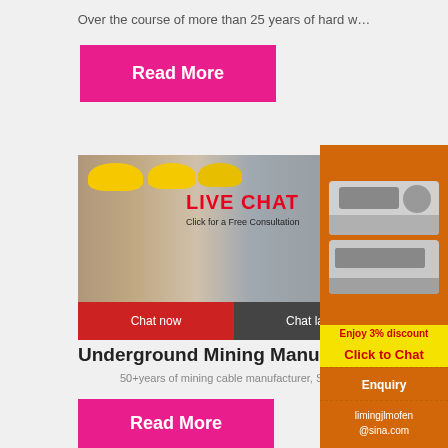Over the course of more than 25 years of hard w…
[Figure (other): Pink 'Read More' button]
[Figure (other): Live chat popup overlay with workers wearing yellow helmets, red 'LIVE CHAT' text, 'Click for a Free Consultation', Chat now and Chat later buttons]
[Figure (other): Right sidebar with orange background, mining machinery images, 'Enjoy 3% discount', 'Click to Chat' in yellow, Enquiry section, and limingjlmofen@sina.com email]
Underground Mining Manufactur…
50+years of mining cable manufacturer, S…
[Figure (other): Pink 'Read More' button at bottom]